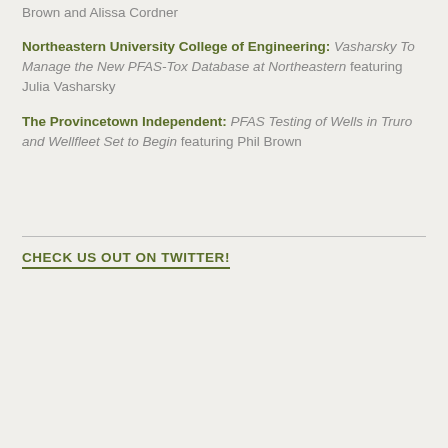Brown and Alissa Cordner
Northeastern University College of Engineering: Vasharsky To Manage the New PFAS-Tox Database at Northeastern featuring Julia Vasharsky
The Provincetown Independent: PFAS Testing of Wells in Truro and Wellfleet Set to Begin featuring Phil Brown
CHECK US OUT ON TWITTER!